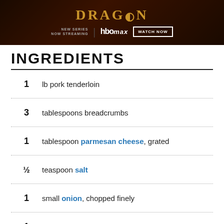[Figure (photo): HBO Max advertisement banner for 'Dragon' new series, with 'WATCH NOW' button]
INGREDIENTS
1   lb pork tenderloin
3   tablespoons breadcrumbs
1   tablespoon parmesan cheese, grated
½   teaspoon salt
1   small onion, chopped finely
1   garlic clove, minced